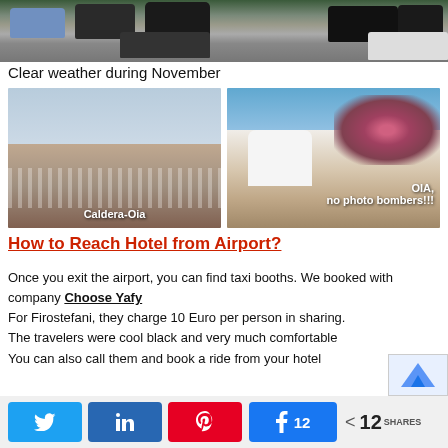[Figure (photo): Parking lot with multiple cars parked, showing a street scene]
Clear weather during November
[Figure (photo): Two side-by-side travel photos: left shows Caldera-Oia view with white buildings on cliff, right shows OIA village with flowers and white buildings labeled 'OIA, no photo bombers!!!']
How to Reach Hotel from Airport?
Once you exit the airport, you can find taxi booths. We booked with company Choose Yafy
For Firostefani, they charge 10 Euro per person in sharing.
The travelers were cool black and very much comfortable
You can also call them and book a ride from your hotel
Twitter | LinkedIn | Pinterest | Facebook 12 | < 12 SHARES